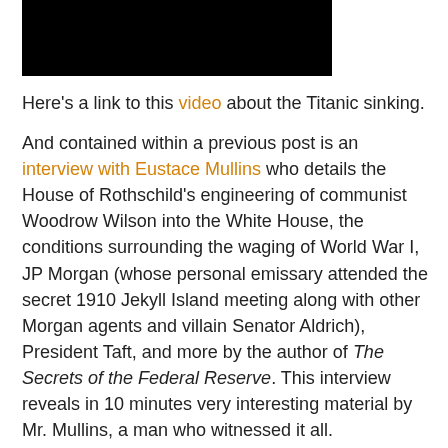[Figure (photo): Black rectangle image block at top of page]
Here's a link to this video about the Titanic sinking.
And contained within a previous post is an interview with Eustace Mullins who details the House of Rothschild's engineering of communist Woodrow Wilson into the White House, the conditions surrounding the waging of World War I, JP Morgan (whose personal emissary attended the secret 1910 Jekyll Island meeting along with other Morgan agents and villain Senator Aldrich), President Taft, and more by the author of The Secrets of the Federal Reserve. This interview reveals in 10 minutes very interesting material by Mr. Mullins, a man who witnessed it all.
To quote poet Ezra Pound (political prisoner without trial St. Elizabeth's Hospital 1950):
Here are some simple facts of the great betrayal. Wilson and House knew that they were doing something momentous. One cannot fathom men's motives and this pair